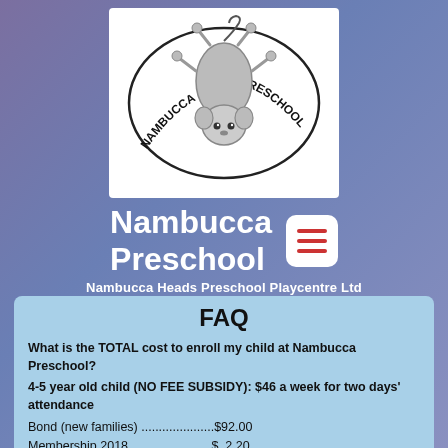[Figure (logo): Nambucca Preschool logo with a possum hanging upside down, text arching around reading NAMBUCCA PRESCHOOL]
Nambucca Preschool
Nambucca Heads Preschool Playcentre Ltd
FAQ
What is the TOTAL cost to enroll my child at Nambucca Preschool?
4-5 year old child (NO FEE SUBSIDY):  $46 a week for two days' attendance
Bond (new families) ...................$92.00
Membership 2018........................$  2.20
Admin (Term 1)...........................$20.00
Insurance (Term 1).......................$  5.50
2 weeks' fees in advance........... $92.00
Hat .........................................$12.00